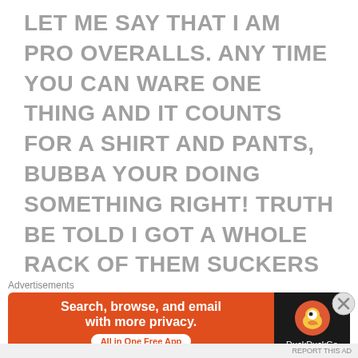LET ME SAY THAT I AM PRO OVERALLS. ANY TIME YOU CAN WARE ONE THING AND IT COUNTS FOR A SHIRT AND PANTS, BUBBA YOUR DOING SOMETHING RIGHT! TRUTH BE TOLD I GOT A WHOLE RACK OF THEM SUCKERS ALL ORANGE OF COURSE (CEPT FOR ONE CRIMSON JUST IN CASE ID NEED IT FOR AN OB-JAY INTERVIEW HAHA #JOSHINAGAIN HAHA)
NOW WHEN I SAID OVERALL CHAMPIONS I WAS OF COURSE REFERING TO THE OVERALL FOOTBALL PRIZE. THE CYRSTAL BALL! ALL THE MARBALS THE FULL SLICE OF PIE! WAIT
Advertisements
[Figure (infographic): DuckDuckGo advertisement banner: orange left side with text 'Search, browse, and email with more privacy. All in One Free App', and dark right side with DuckDuckGo duck logo and brand name.]